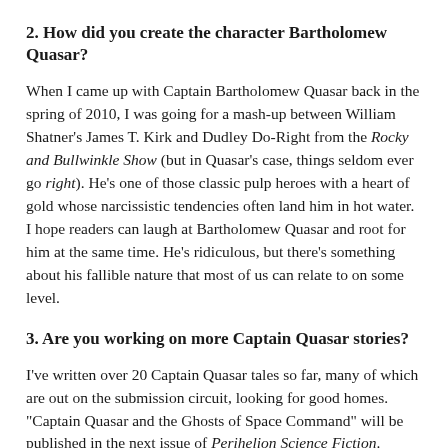2. How did you create the character Bartholomew Quasar?
When I came up with Captain Bartholomew Quasar back in the spring of 2010, I was going for a mash-up between William Shatner's James T. Kirk and Dudley Do-Right from the Rocky and Bullwinkle Show (but in Quasar's case, things seldom ever go right). He's one of those classic pulp heroes with a heart of gold whose narcissistic tendencies often land him in hot water. I hope readers can laugh at Bartholomew Quasar and root for him at the same time. He's ridiculous, but there's something about his fallible nature that most of us can relate to on some level.
3. Are you working on more Captain Quasar stories?
I've written over 20 Captain Quasar tales so far, many of which are out on the submission circuit, looking for good homes. "Captain Quasar and the Ghosts of Space Command" will be published in the next issue of Perihelion Science Fiction. "Captain Quasar and the Carpethrian Call of the Wild" will be included in the B is for Broken anthology, and "Captain Quasar and the Devious Powers of